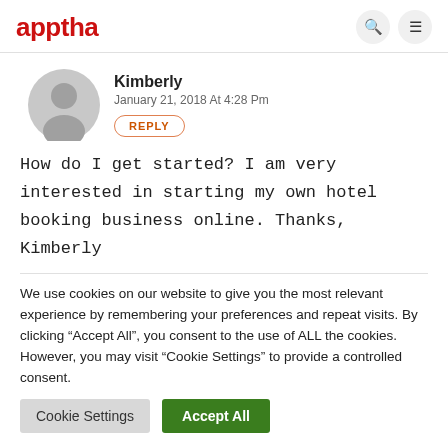apptha
Kimberly
January 21, 2018 At 4:28 Pm
REPLY
How do I get started? I am very interested in starting my own hotel booking business online. Thanks, Kimberly
We use cookies on our website to give you the most relevant experience by remembering your preferences and repeat visits. By clicking "Accept All", you consent to the use of ALL the cookies. However, you may visit "Cookie Settings" to provide a controlled consent.
Cookie Settings | Accept All